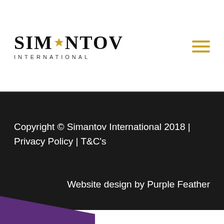[Figure (logo): Simantov International logo with gold star of David between letters, text 'SIMANTOV' in large serif bold font and 'INTERNATIONAL' in small spaced sans-serif below]
Copyright © Simantov International 2018 | Privacy Policy | T&C's
Website design by Purple Feather
Free Matchmaking Consultation >>